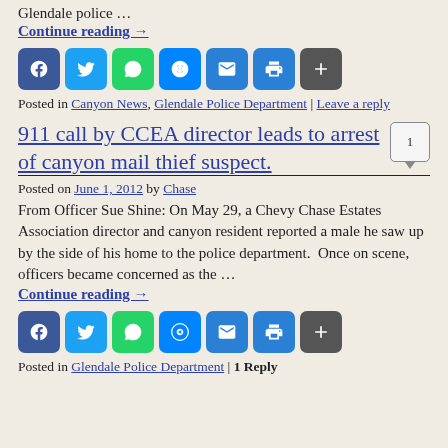Glendale police …
Continue reading →
[Figure (other): Social share buttons: Facebook, Twitter, WhatsApp, Messenger, Email, Print, Add]
Posted in Canyon News, Glendale Police Department | Leave a reply
911 call by CCEA director leads to arrest of canyon mail thief suspect.
Posted on June 1, 2012 by Chase
From Officer Sue Shine: On May 29, a Chevy Chase Estates Association director and canyon resident reported a male he saw up by the side of his home to the police department.  Once on scene, officers became concerned as the …
Continue reading →
[Figure (other): Social share buttons: Facebook, Twitter, WhatsApp, Messenger, Email, Print, Add]
Posted in Glendale Police Department | 1 Reply